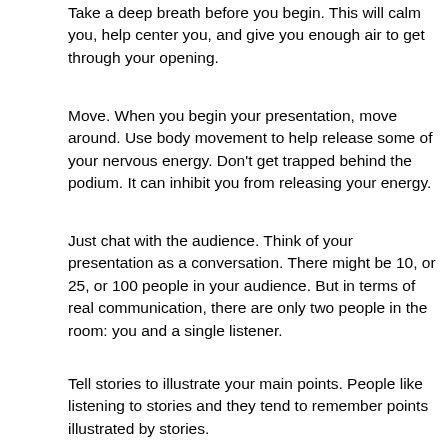Take a deep breath before you begin.  This will calm you, help center you, and give you enough air to get through your opening.
Move.  When you begin your presentation, move around.  Use body movement to help release some of your nervous energy.  Don't get trapped behind the podium.  It can inhibit you from releasing your energy.
Just chat with the audience.  Think of your presentation as a conversation.  There might be 10, or 25, or 100 people in your audience.  But in terms of real communication, there are only two people in the room: you and a single listener.
Tell stories to illustrate your main points.  People like listening to stories and they tend to remember points illustrated by stories.